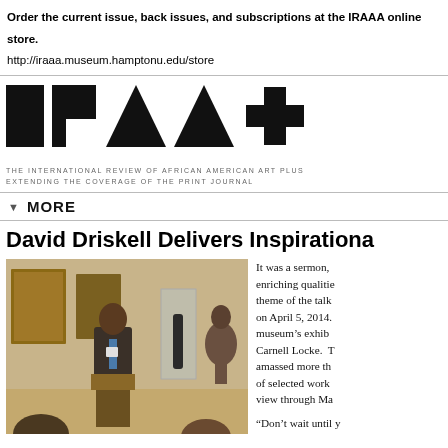Order the current issue, back issues, and subscriptions at the IRAAA online store.
http://iraaa.museum.hamptonu.edu/store
[Figure (logo): IRAAA+ logo in large black geometric letterforms, with tagline: THE INTERNATIONAL REVIEW OF AFRICAN AMERICAN ART PLUS EXTENDING THE COVERAGE OF THE PRINT JOURNAL]
MORE
David Driskell Delivers Inspirationa
[Figure (photo): Photo of a man in a suit speaking at a podium inside a museum gallery with African art objects visible in the background]
It was a sermon, enriching qualities theme of the talk on April 5, 2014. museum’s exhib Carnell Locke. T amassed more th of selected work view through Ma
“Don’t wait until y